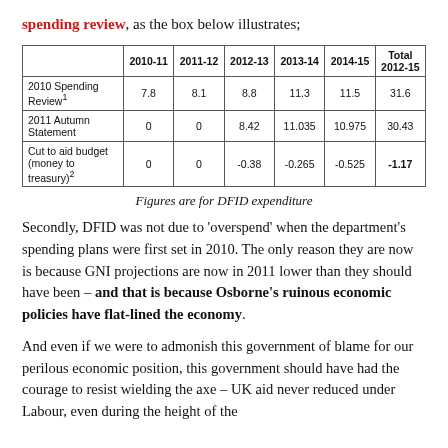spending review, as the box below illustrates;
|  | 2010-11 | 2011-12 | 2012-13 | 2013-14 | 2014-15 | Total 2012-15 |
| --- | --- | --- | --- | --- | --- | --- |
| 2010 Spending Review¹ | 7.8 | 8.1 | 8.8 | 11.3 | 11.5 | 31.6 |
| 2011 Autumn Statement | 0 | 0 | 8.42 | 11.035 | 10.975 | 30.43 |
| Cut to aid budget (money to treasury)² | 0 | 0 | -0.38 | -0.265 | -0.525 | -1.17 |
Figures are for DFID expenditure
Secondly, DFID was not due to 'overspend' when the department's spending plans were first set in 2010. The only reason they are now is because GNI projections are now in 2011 lower than they should have been – and that is because Osborne's ruinous economic policies have flat-lined the economy.
And even if we were to admonish this government of blame for our perilous economic position, this government should have had the courage to resist wielding the axe – UK aid never reduced under Labour, even during the height of the